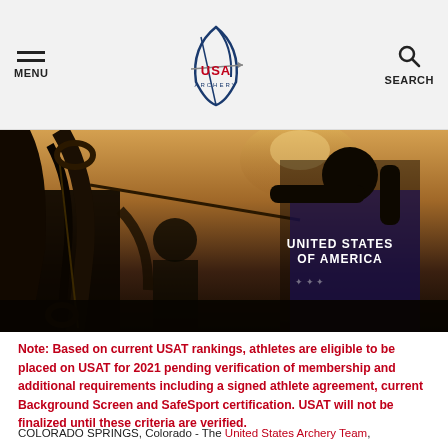MENU | USA ARCHERY | SEARCH
[Figure (photo): Archery athlete in United States of America jersey holding a compound bow, preparing to shoot at an outdoor venue with warm sunset lighting. A second athlete is visible in the background.]
Note: Based on current USAT rankings, athletes are eligible to be placed on USAT for 2021 pending verification of membership and additional requirements including a signed athlete agreement, current Background Screen and SafeSport certification. USAT will not be finalized until these criteria are verified.
COLORADO SPRINGS, Colorado - The United States Archery Team,